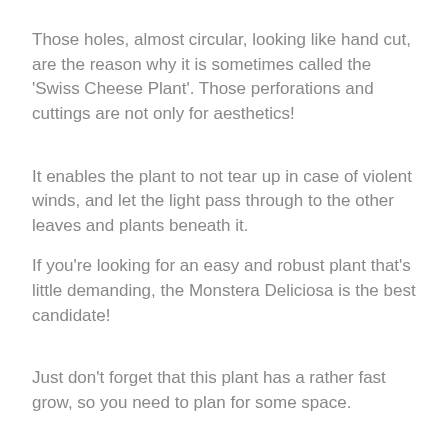Those holes, almost circular, looking like hand cut, are the reason why it is sometimes called the 'Swiss Cheese Plant'. Those perforations and cuttings are not only for aesthetics!
It enables the plant to not tear up in case of violent winds, and let the light pass through to the other leaves and plants beneath it.
If you're looking for an easy and robust plant that's little demanding, the Monstera Deliciosa is the best candidate!
Just don't forget that this plant has a rather fast grow, so you need to plan for some space.